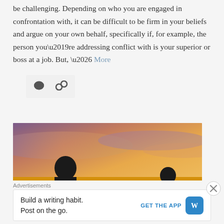be challenging. Depending on who you are engaged in confrontation with, it can be difficult to be firm in your beliefs and argue on your own behalf, specifically if, for example, the person you’re addressing conflict with is your superior or boss at a job. But, … More
[Figure (photo): Silhouettes of two people against a sunset sky with purple and orange hues]
Advertisements
Build a writing habit. Post on the go. GET THE APP